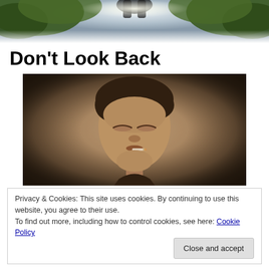[Figure (photo): Top banner photo showing trees and sky with hands raised]
Don't Look Back
[Figure (photo): Sepia-toned portrait photo of a young man with curly dark hair, eyes closed, cigarette in mouth, vignette effect]
Privacy & Cookies: This site uses cookies. By continuing to use this website, you agree to their use.
To find out more, including how to control cookies, see here: Cookie Policy
Close and accept
one that started it all, however, still remains the most